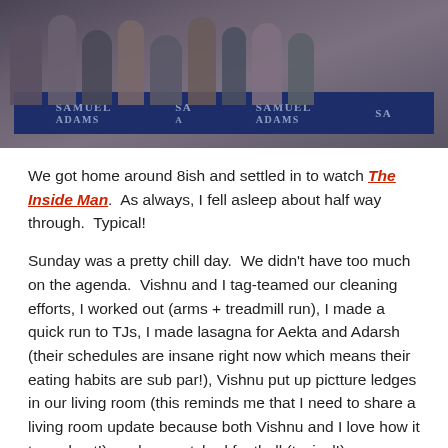[Figure (photo): People standing in front of a Samuel Adams banner/sign at what appears to be a bar or event venue]
We got home around 8ish and settled in to watch The Inside Man. As always, I fell asleep about half way through. Typical!
Sunday was a pretty chill day. We didn't have too much on the agenda. Vishnu and I tag-teamed our cleaning efforts, I worked out (arms + treadmill run), I made a quick run to TJs, I made lasagna for Aekta and Adarsh (their schedules are insane right now which means their eating habits are sub par!), Vishnu put up pictture ledges in our living room (this reminds me that I need to share a living room update because both Vishnu and I love how it turned out!), and we watched football (typical!).
And now it's Monday. Hopefully more accomplishments are in all of our futures. 🙂